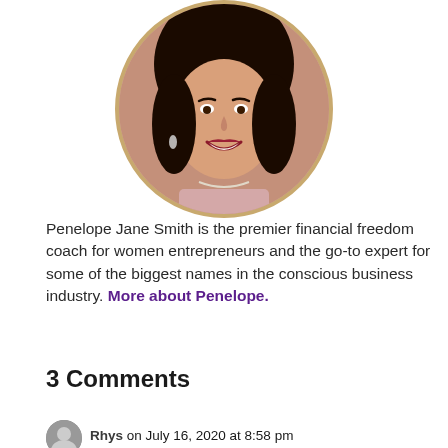[Figure (photo): Circular portrait photo of Penelope Jane Smith, a smiling woman with dark hair, with a gold/tan circular border.]
Penelope Jane Smith is the premier financial freedom coach for women entrepreneurs and the go-to expert for some of the biggest names in the conscious business industry. More about Penelope.
3 Comments
Rhys on July 16, 2020 at 8:58 pm